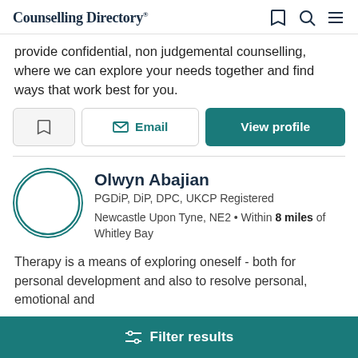Counselling Directory
provide confidential, non judgemental counselling, where we can explore your needs together and find ways that work best for you.
Email | View profile
Olwyn Abajian
PGDiP, DiP, DPC, UKCP Registered
Newcastle Upon Tyne, NE2 • Within 8 miles of Whitley Bay
Therapy is a means of exploring oneself - both for personal development and also to resolve personal, emotional and